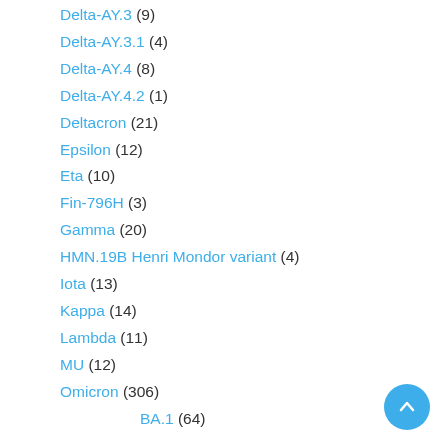Delta-AY.3 (9)
Delta-AY.3.1 (4)
Delta-AY.4 (8)
Delta-AY.4.2 (1)
Deltacron (21)
Epsilon (12)
Eta (10)
Fin-796H (3)
Gamma (20)
HMN.19B Henri Mondor variant (4)
Iota (13)
Kappa (14)
Lambda (11)
MU (12)
Omicron (306)
BA.1 (64)